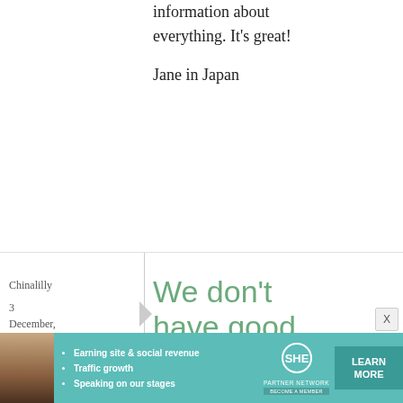information about everything. It's great!
Jane in Japan
Chinalilly
3 December, 2008 - 23:25
permalink
We don't have good supply
We don't have good supply of Julia Child books here so I'd love
[Figure (infographic): SHE Partner Network advertisement banner with woman photo, bullet points about earning site & social revenue, traffic growth, speaking on our stages, SHE logo, and LEARN MORE button]